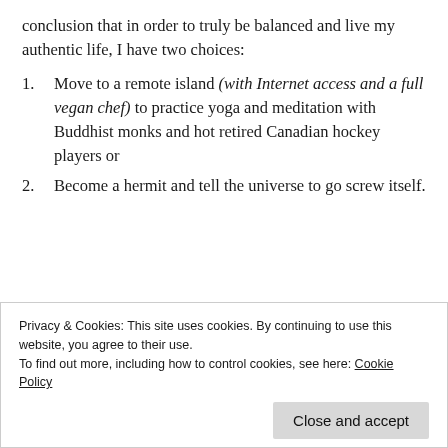conclusion that in order to truly be balanced and live my authentic life, I have two choices:
1. Move to a remote island (with Internet access and a full vegan chef) to practice yoga and meditation with Buddhist monks and hot retired Canadian hockey players or
2. Become a hermit and tell the universe to go screw itself.
Privacy & Cookies: This site uses cookies. By continuing to use this website, you agree to their use. To find out more, including how to control cookies, see here: Cookie Policy
Close and accept